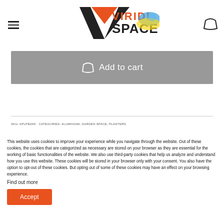Viridi Space — navigation header with logo, hamburger menu, and cart icon
Add to cart
SKU: APLPED00   CATEGORIES: ALUMINIUM, GARDEN SPACE, PLANTERS
This website uses cookies to improve your experience while you navigate through the website. Out of these cookies, the cookies that are categorized as necessary are stored on your browser as they are essential for the working of basic functionalities of the website. We also use third-party cookies that help us analyze and understand how you use this website. These cookies will be stored in your browser only with your consent. You also have the option to opt-out of these cookies. But opting out of some of these cookies may have an effect on your browsing experience.
Find out more
Accept